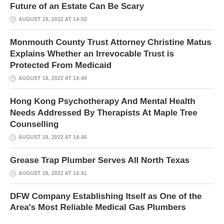Future of an Estate Can Be Scary
AUGUST 18, 2022 AT 14:50
Monmouth County Trust Attorney Christine Matus Explains Whether an Irrevocable Trust is Protected From Medicaid
AUGUST 18, 2022 AT 14:49
Hong Kong Psychotherapy And Mental Health Needs Addressed By Therapists At Maple Tree Counselling
AUGUST 18, 2022 AT 14:46
Grease Trap Plumber Serves All North Texas
AUGUST 18, 2022 AT 14:41
DFW Company Establishing Itself as One of the Area's Most Reliable Medical Gas Plumbers